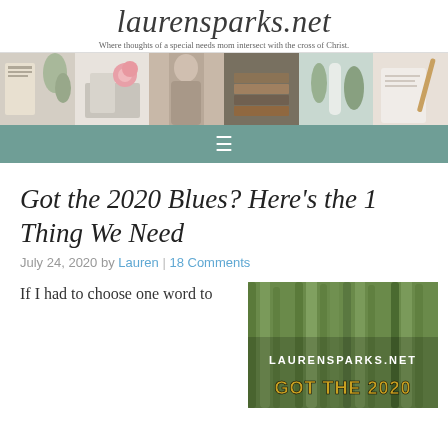laurensparks.net
Where thoughts of a special needs mom intersect with the cross of Christ.
[Figure (photo): Horizontal strip of 6 lifestyle photos]
[Figure (infographic): Teal navigation bar with hamburger menu icon]
Got the 2020 Blues? Here's the 1 Thing We Need
July 24, 2020 by Lauren | 18 Comments
If I had to choose one word to
[Figure (photo): Featured blog image with text overlay: LAURENSPARKS.NET and GOT THE 2020 — grass/plants background]